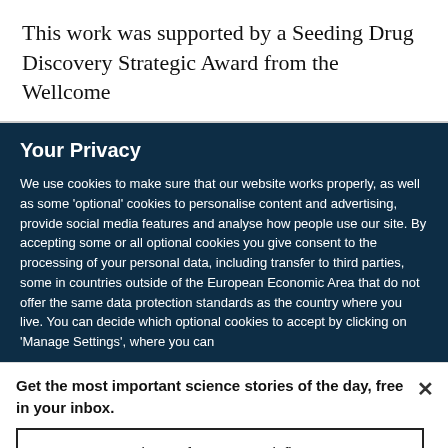This work was supported by a Seeding Drug Discovery Strategic Award from the Wellcome
Your Privacy
We use cookies to make sure that our website works properly, as well as some 'optional' cookies to personalise content and advertising, provide social media features and analyse how people use our site. By accepting some or all optional cookies you give consent to the processing of your personal data, including transfer to third parties, some in countries outside of the European Economic Area that do not offer the same data protection standards as the country where you live. You can decide which optional cookies to accept by clicking on 'Manage Settings', where you can
Get the most important science stories of the day, free in your inbox.
Sign up for Nature Briefing